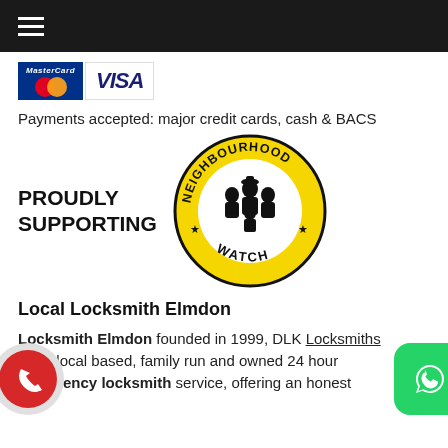[Figure (logo): MasterCard and VISA payment logos side by side]
Payments accepted: major credit cards, cash & BACS
[Figure (logo): Neighbourhood Watch circular logo in black and yellow with PROUDLY SUPPORTING text]
Local Locksmith Elmdon
Locksmith Elmdon founded in 1999, DLK Locksmiths are a local based, family run and owned 24 hour emergency locksmith service, offering an honest